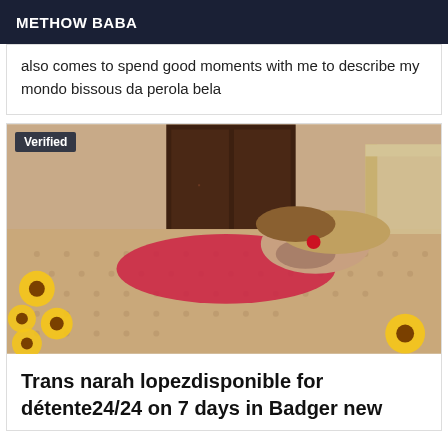METHOW BABA
also comes to spend good moments with me to describe my mondo bissous da perola bela
[Figure (photo): Woman in red lingerie lying on a patterned floor surrounded by sunflowers, with a wooden cabinet and ornate chair in background. A 'Verified' badge overlays the top-left corner.]
Trans narah lopez⁠disponible for détente⁠24/24 on 7 days in Badger new